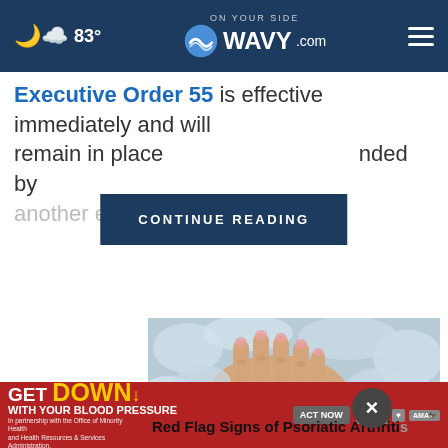83° WAVY.com ON YOUR SIDE
Executive Order 55 is effective immediately and will remain in place [CONTINUE READING] nded by another exec...
[Figure (screenshot): Button overlay reading CONTINUE READING on dark navy background]
[Figure (photo): A human hand resting on ice cubes]
Red Flag Signs of Psoriatic Arthriti...
[Figure (infographic): Advertisement banner: GET DOWN WITH YOUR BLOOD PRESSURE - ACT NOW - ad council, American Heart Association, AMA logos]